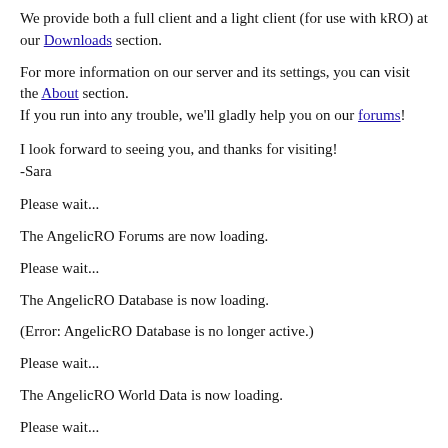We provide both a full client and a light client (for use with kRO) at our Downloads section.
For more information on our server and its settings, you can visit the About section.
If you run into any trouble, we'll gladly help you on our forums!
I look forward to seeing you, and thanks for visiting!
-Sara
Please wait...
The AngelicRO Forums are now loading.
Please wait...
The AngelicRO Database is now loading.
(Error: AngelicRO Database is no longer active.)
Please wait...
The AngelicRO World Data is now loading.
Please wait...